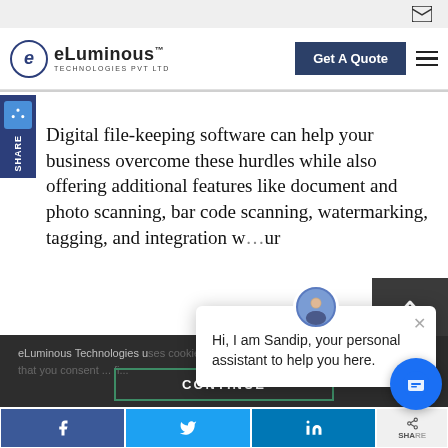[Figure (screenshot): eLuminous Technologies PVT LTD website screenshot showing header with logo, Get A Quote button, hamburger menu, article text about digital file-keeping software, social share sidebar, cookie consent bar, CONTINUE button, social sharing buttons (Facebook, Twitter, LinkedIn), and a chat popup from Sandip.]
eLuminous Technologies PVT LTD — Get A Quote
Digital file-keeping software can help your business overcome these hurdles while also offering additional features like document and photo scanning, bar code scanning, watermarking, tagging, and integration w...ur
eLuminous Technologies u... you the best experience ... assume that you consent ... fi...
Hi, I am Sandip, your personal assistant to help you here.
CONTINUE